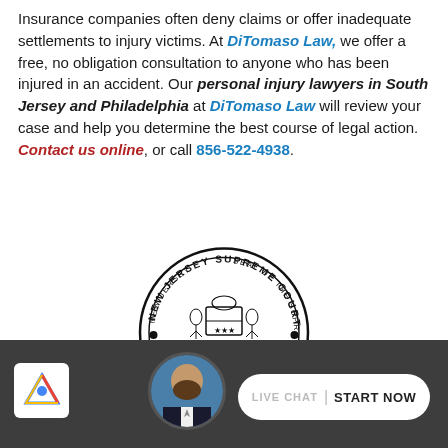Insurance companies often deny claims or offer inadequate settlements to injury victims. At DiTomaso Law, we offer a free, no obligation consultation to anyone who has been injured in an accident. Our personal injury lawyers in South Jersey and Philadelphia at DiTomaso Law will review your case and help you determine the best course of legal action. Contact us online, or call 856-522-4938.
[Figure (illustration): New Jersey Supreme Court Certified Attorney circular seal/stamp with figures and state imagery]
[Figure (screenshot): Dark bottom bar showing a live chat widget with a man's photo avatar, reCAPTCHA logo, and a white pill-shaped button reading 'LIVE CHAT START NOW']